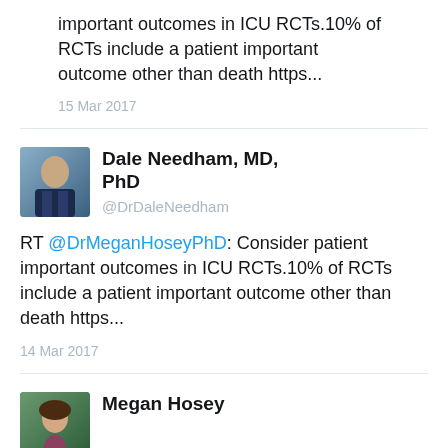important outcomes in ICU RCTs.10% of RCTs include a patient important outcome other than death https...
15 Mar 2017
Dale Needham, MD, PhD
@DrDaleNeedham
RT @DrMeganHoseyPhD: Consider patient important outcomes in ICU RCTs.10% of RCTs include a patient important outcome other than death https...
14 Mar 2017
Megan Hosey